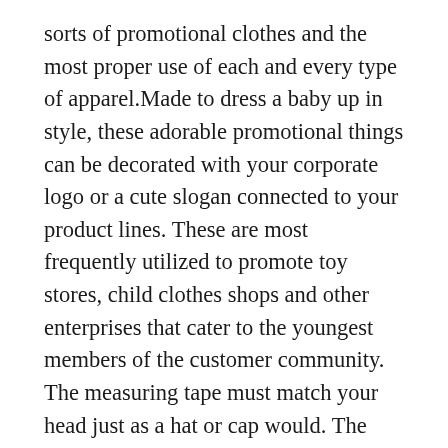sorts of promotional clothes and the most proper use of each and every type of apparel.Made to dress a baby up in style, these adorable promotional things can be decorated with your corporate logo or a cute slogan connected to your product lines. These are most frequently utilized to promote toy stores, child clothes shops and other enterprises that cater to the youngest members of the customer community. The measuring tape must match your head just as a hat or cap would. The measurement, in inches, is your hat size. To make your own baseball cap, grab a onesie or tee shirt that your child has out grown. Next, download the cost-free pattern Here – this cap pattern was sized to match a 2-4 year old. Follow along as I show you how to sew your own toddler size baseball cap. 305 fitted hats 305 fitted hats 305 fitted hats. Clothes and far more celebrating the florida life style for each guys and women. The colors created you want to go out and have enjoyable in the sun just like the opening scene of each and every single show. Usually don't forget exactly where you're